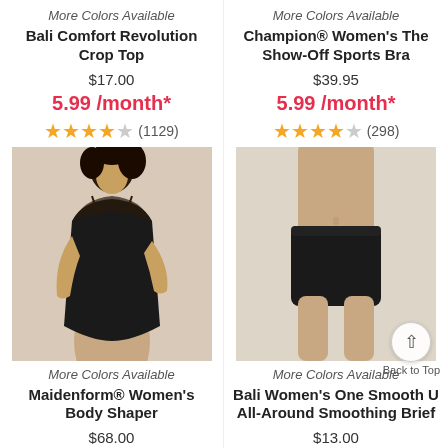More Colors Available
Bali Comfort Revolution Crop Top
$17.00
5.99 /month*
(1129)
More Colors Available
Champion® Women's The Show-Off Sports Bra
$39.95
5.99 /month*
(298)
[Figure (photo): Woman wearing black lace bodysuit shapewear]
[Figure (photo): Woman wearing black high-waist smoothing brief]
More Colors Available
Maidenform® Women's Body Shaper
$68.00
More Colors Available
Bali Women's One Smooth U All-Around Smoothing Brief
$13.00
Back to Top